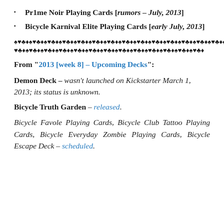Pr1me Noir Playing Cards [rumors – July, 2013]
Bicycle Karnival Elite Playing Cards [early July, 2013]
♠♥♣♦♠♥♣♦♠♥♣♦♠♥♣♦♠♥♣♦♠♥♣♦♠♥♣♦♠♥♣♦♠♥♣♦♠♥♣♦♠♥♣♦♠♥♣♦♠♥♣♦♠♥♣♦♠♥♣♦♠♥♣♦♠♥♣♦♠♥♣♦♠♥♣♦♠♥♣♦♠♥♣♦♠♥♣♦♠♥♣♦♠♥♣♦
From “2013 [week 8] – Upcoming Decks”:
Demon Deck – wasn’t launched on Kickstarter March 1, 2013; its status is unknown.
Bicycle Truth Garden – released.
Bicycle Favole Playing Cards, Bicycle Club Tattoo Playing Cards, Bicycle Everyday Zombie Playing Cards, Bicycle Escape Deck – scheduled.